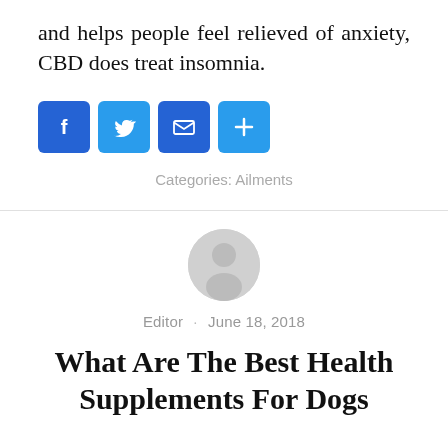and helps people feel relieved of anxiety, CBD does treat insomnia.
[Figure (infographic): Four social sharing buttons: Facebook (f icon), Twitter (bird icon), Email (envelope icon), and a plus (+) button, all in blue rounded squares.]
Categories: Ailments
[Figure (illustration): Generic grey circular avatar/profile icon with a person silhouette.]
Editor · June 18, 2018
What Are The Best Health Supplements For Dogs